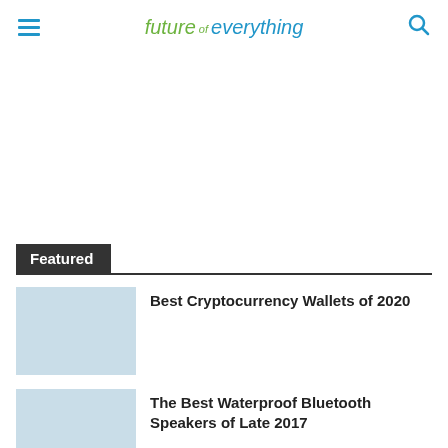future of everything
[Figure (other): Large advertisement or blank white space area]
Featured
Best Cryptocurrency Wallets of 2020
The Best Waterproof Bluetooth Speakers of Late 2017